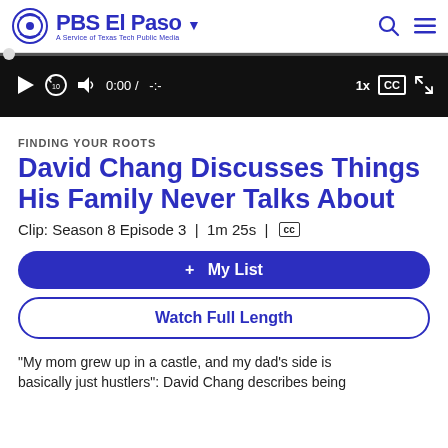PBS El Paso | A Service of Texas Tech Public Media
[Figure (screenshot): Video player control bar with play button, replay 10s, volume, timestamp 0:00 / -:-, 1x speed, CC button, fullscreen button on dark background]
FINDING YOUR ROOTS
David Chang Discusses Things His Family Never Talks About
Clip: Season 8 Episode 3 | 1m 25s | CC
+ My List
Watch Full Length
“My mom grew up in a castle, and my dad’s side is basically just hustlers”: David Chang describes being